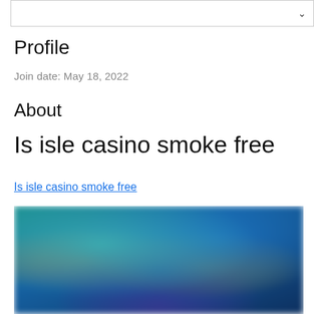Profile
Join date: May 18, 2022
About
Is isle casino smoke free
Is isle casino smoke free
[Figure (photo): Blurred screenshot showing casino game or entertainment content with teal, blue and orange tones]